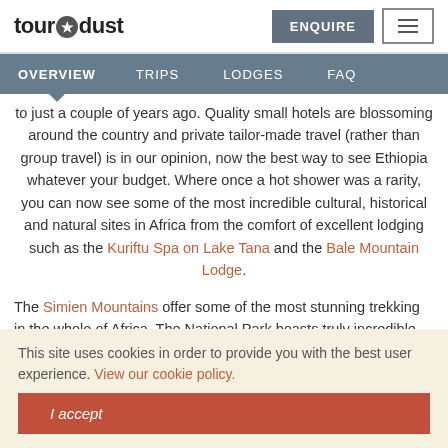tour dust — ENQUIRE / menu
OVERVIEW  TRIPS  LODGES  FAQ
to just a couple of years ago. Quality small hotels are blossoming around the country and private tailor-made travel (rather than group travel) is in our opinion, now the best way to see Ethiopia whatever your budget. Where once a hot shower was a rarity, you can now see some of the most incredible cultural, historical and natural sites in Africa from the comfort of excellent lodging such as the Kuriftu Spa on Lake Tana and the Bale Mountain Lodge.
The Simien Mountains offer some of the most stunning trekking in the whole of Africa. The National Park boasts truly incredible mountain scenery and is teeming with endemic wildlife. We are
This site uses cookies in order to provide you with the best user experience. View our cookie policy.